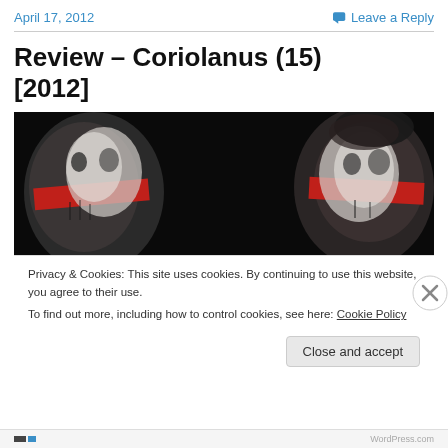April 17, 2012   Leave a Reply
Review – Coriolanus (15) [2012]
[Figure (photo): Movie poster or promotional image for Coriolanus (2012) showing two figures with red face paint on a black background, facing each other in profile.]
Privacy & Cookies: This site uses cookies. By continuing to use this website, you agree to their use.
To find out more, including how to control cookies, see here: Cookie Policy
Close and accept